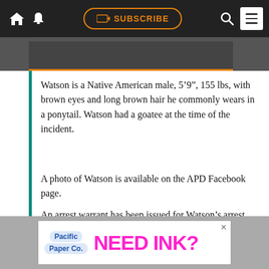SUBSCRIBE navigation bar with home, notification, subscribe, search, and menu icons
Watson is a Native American male, 5‘9”, 155 lbs, with brown eyes and long brown hair he commonly wears in a ponytail. Watson had a goatee at the time of the incident.
A photo of Watson is available on the APD Facebook page.
An arrest warrant has been issued for Watson’s arrest. Anyone with information on Watson’s whereabouts is encouraged to call the Arcata Police Department at (707)822-2426.
[Figure (other): Advertisement banner for Pacific Paper Co. with text NEED INK? in pink]